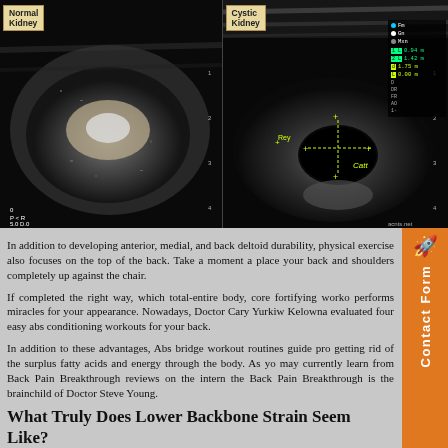[Figure (photo): Two side-by-side veterinary ultrasound images. Left image labeled 'Normal Kidney' from Solely Cats Veterinary Hospital showing a normal kidney ultrasound in grayscale. Right image labeled 'Cystic Kidney' showing a kidney with cystic lesions, with yellow measurement crosshairs and a measurements panel on the right side showing values: 1L 0.94cm, 2L 1.42cm, d 1.75cm, L 0.00cm.]
In addition to developing anterior, medial, and back deltoid durability, physical exercise also focuses on the top of the back. Take a moment and place your back and shoulders completely up against the chair.
If completed the right way, which total-entire body, core fortifying workout performs miracles for your appearance. Nowadays, Doctor Cary Yurkiw in Kelowna evaluated four easy abs conditioning workouts for your back.
In addition to these advantages, Abs bridge workout routines guide proper getting rid of the surplus fatty acids and energy through the body. As you may currently learn from Back Pain Breakthrough reviews on the internet, the Back Pain Breakthrough is the brainchild of Doctor Steve Young.
What Truly Does Lower Backbone Strain Seem Like?
Signs and symptoms of low lumbar back strain include pain and firmness in the back. Pain worsens when twisting, extending, hacking, coughing, or